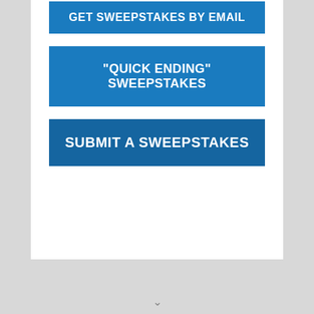GET SWEEPSTAKES BY EMAIL
"QUICK ENDING" SWEEPSTAKES
SUBMIT A SWEEPSTAKES